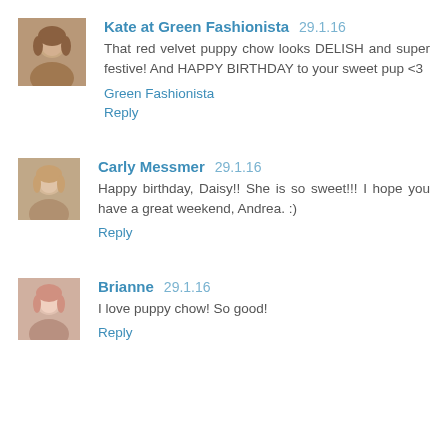Kate at Green Fashionista  29.1.16
That red velvet puppy chow looks DELISH and super festive! And HAPPY BIRTHDAY to your sweet pup <3
Green Fashionista
Reply
Carly Messmer  29.1.16
Happy birthday, Daisy!! She is so sweet!!! I hope you have a great weekend, Andrea. :)
Reply
Brianne  29.1.16
I love puppy chow! So good!
Reply